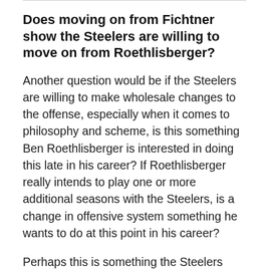Does moving on from Fichtner show the Steelers are willing to move on from Roethlisberger?
Another question would be if the Steelers are willing to make wholesale changes to the offense, especially when it comes to philosophy and scheme, is this something Ben Roethlisberger is interested in doing this late in his career? If Roethlisberger really intends to play one or more additional seasons with the Steelers, is a change in offensive system something he wants to do at this point in his career?
Perhaps this is something the Steelers discussed with Roethlisberger before making the decision. Perhaps it is not. If the Steelers are willing to make this change regardless of Roethlisberger's opinion, knowing he